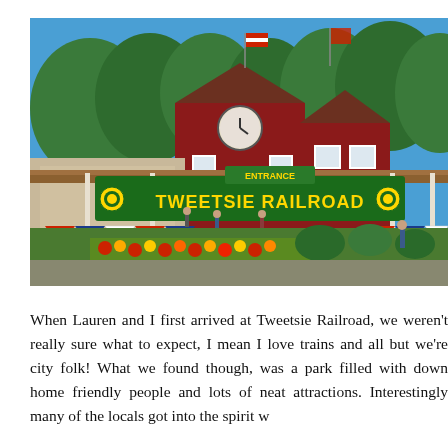[Figure (photo): Exterior photo of Tweetsie Railroad attraction entrance. A large green and yellow sign reads 'TWEETSIE RAILROAD' with a smaller 'ENTRANCE' sign above it. Behind the sign is a red barn-style building with a clock, white-trimmed windows, and three flags on poles. Lush green trees fill the background under a bright blue sky. Colorful flower gardens and shrubs are in the foreground, with visitors walking around the entrance area.]
When Lauren and I first arrived at Tweetsie Railroad, we weren't really sure what to expect, I mean I love trains and all but we're city folk! What we found though, was a park filled with down home friendly people and lots of neat attractions. Interestingly many of the locals got into the spirit w...